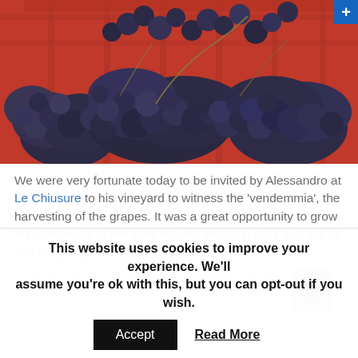[Figure (photo): Dark blue/purple grapes piled in red plastic harvest crates. The grapes are ripe and clustered together filling the frame.]
We were very fortunate today to be invited by Alessandro at Le Chiusure to his vineyard to witness the 'vendemmia', the harvesting of the grapes. It was a great opportunity to grow my knowledge of the wine making process, but I also got to see the plump ripe grapes right at the point when they were perfect to pick for sti…
This website uses cookies to improve your experience. We'll assume you're ok with this, but you can opt-out if you wish.
Accept
Read More